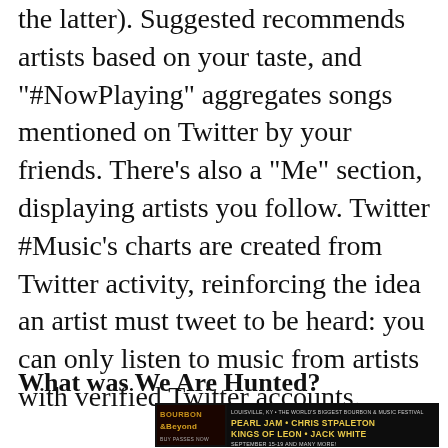the latter). Suggested recommends artists based on your taste, and "#NowPlaying" aggregates songs mentioned on Twitter by your friends. There's also a "Me" section, displaying artists you follow. Twitter #Music's charts are created from Twitter activity, reinforcing the idea an artist must tweet to be heard: you can only listen to music from artists with verified Twitter accounts.
What was We Are Hunted?
[Figure (other): Advertisement banner for Bourbon & Beyond music festival featuring Pearl Jam, Chris Stapleton, Kings of Leon, Jack White. Louisville, KY. September 15-19. Buy passes now.]